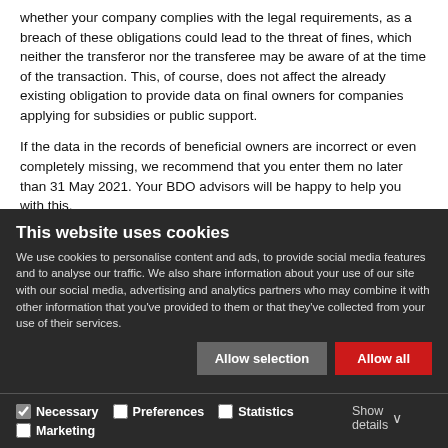whether your company complies with the legal requirements, as a breach of these obligations could lead to the threat of fines, which neither the transferor nor the transferee may be aware of at the time of the transaction. This, of course, does not affect the already existing obligation to provide data on final owners for companies applying for subsidies or public support.
If the data in the records of beneficial owners are incorrect or even completely missing, we recommend that you enter them no later than 31 May 2021. Your BDO advisors will be happy to help you with this.
This website uses cookies
We use cookies to personalise content and ads, to provide social media features and to analyse our traffic. We also share information about your use of our site with our social media, advertising and analytics partners who may combine it with other information that you've provided to them or that they've collected from your use of their services.